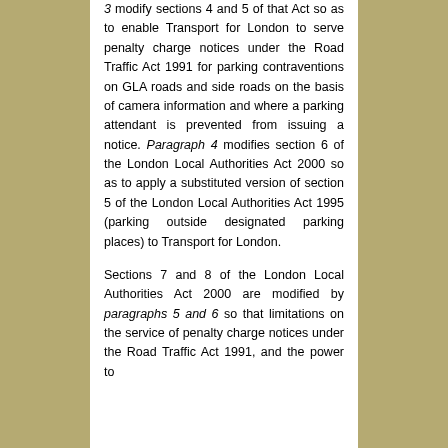3 modify sections 4 and 5 of that Act so as to enable Transport for London to serve penalty charge notices under the Road Traffic Act 1991 for parking contraventions on GLA roads and side roads on the basis of camera information and where a parking attendant is prevented from issuing a notice. Paragraph 4 modifies section 6 of the London Local Authorities Act 2000 so as to apply a substituted version of section 5 of the London Local Authorities Act 1995 (parking outside designated parking places) to Transport for London.
Sections 7 and 8 of the London Local Authorities Act 2000 are modified by paragraphs 5 and 6 so that limitations on the service of penalty charge notices under the Road Traffic Act 1991, and the power to